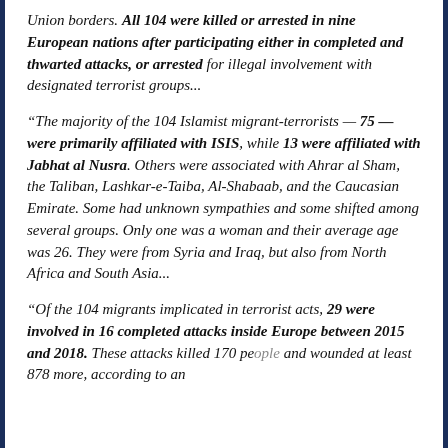Union borders. All 104 were killed or arrested in nine European nations after participating either in completed and thwarted attacks, or arrested for illegal involvement with designated terrorist groups...
“The majority of the 104 Islamist migrant-terrorists — 75 — were primarily affiliated with ISIS, while 13 were affiliated with Jabhat al Nusra. Others were associated with Ahrar al Sham, the Taliban, Lashkar-e-Taiba, Al-Shabaab, and the Caucasian Emirate. Some had unknown sympathies and some shifted among several groups. Only one was a woman and their average age was 26. They were from Syria and Iraq, but also from North Africa and South Asia...
“Of the 104 migrants implicated in terrorist acts, 29 were involved in 16 completed attacks inside Europe between 2015 and 2018. These attacks killed 170 pe... and wounded at least 878 more, according to an